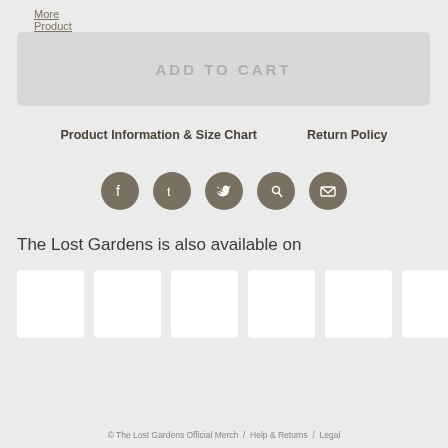More Product Information & Size Chart
[Figure (screenshot): ADD TO CART button (greyed out, disabled state)]
Product Information & Size Chart    Return Policy
[Figure (infographic): Social share icons: Facebook, Tumblr, Twitter, Pinterest, Email]
The Lost Gardens is also available on
[Figure (infographic): Six white square boxes representing store/platform logos]
© The Lost Gardens Official Merch  /  Help & Returns  /  Legal